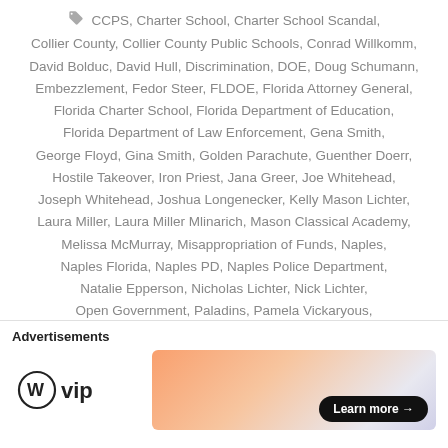CCPS, Charter School, Charter School Scandal, Collier County, Collier County Public Schools, Conrad Willkomm, David Bolduc, David Hull, Discrimination, DOE, Doug Schumann, Embezzlement, Fedor Steer, FLDOE, Florida Attorney General, Florida Charter School, Florida Department of Education, Florida Department of Law Enforcement, Gena Smith, George Floyd, Gina Smith, Golden Parachute, Guenther Doerr, Hostile Takeover, Iron Priest, Jana Greer, Joe Whitehead, Joseph Whitehead, Joshua Longenecker, Kelly Mason Lichter, Laura Miller, Laura Miller Mlinarich, Mason Classical Academy, Melissa McMurray, Misappropriation of Funds, Naples, Naples Florida, Naples PD, Naples Police Department, Natalie Epperson, Nicholas Lichter, Nick Lichter, Open Government, Paladins, Pamela Vickaryous, Paycheck Protection Program, Pearline Foster, PPP Scandal, Principal David Hull, Professional Wrestling
Advertisements
[Figure (logo): WordPress VIP logo with WP icon and 'vip' text]
[Figure (infographic): Advertisement banner with gradient background (orange to pink to grey) and a 'Learn more →' button]